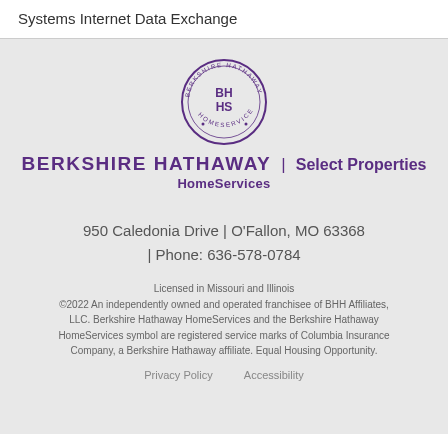Systems Internet Data Exchange
[Figure (logo): Berkshire Hathaway HomeServices circular logo with BH HS text in purple]
BERKSHIRE HATHAWAY | Select Properties HomeServices
950 Caledonia Drive | O'Fallon, MO 63368 | Phone: 636-578-0784
Licensed in Missouri and Illinois ©2022 An independently owned and operated franchisee of BHH Affiliates, LLC. Berkshire Hathaway HomeServices and the Berkshire Hathaway HomeServices symbol are registered service marks of Columbia Insurance Company, a Berkshire Hathaway affiliate. Equal Housing Opportunity.
Privacy Policy   Accessibility